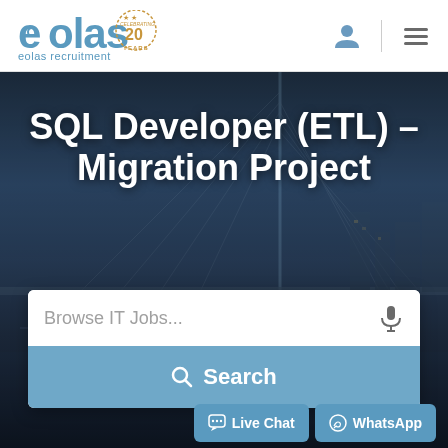[Figure (logo): Eolas Recruitment logo with '20 years celebrating' badge]
[Figure (screenshot): Navigation icons: user profile icon, vertical divider line, and hamburger menu icon]
SQL Developer (ETL) – Migration Project
[Figure (photo): Hero background photo of a cable-stayed bridge at night with city lights]
Browse IT Jobs...
Search
Live Chat
WhatsApp